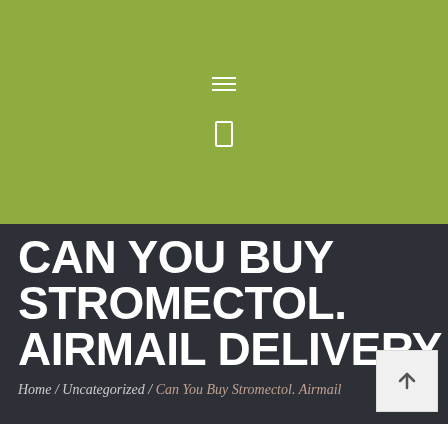[Figure (other): Green hero banner with hamburger menu icon and phone icon]
CAN YOU BUY STROMECTOL. AIRMAIL DELIVERY
Home / Uncategorized / Can You Buy Stromectol. Airmail